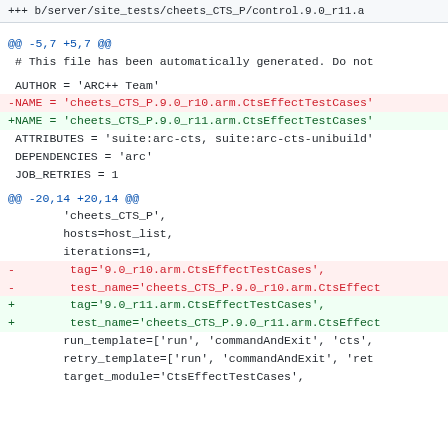+++ b/server/site_tests/cheets_CTS_P/control.9.0_r11.a
@@ -5,7 +5,7 @@
 # This file has been automatically generated. Do not

 AUTHOR = 'ARC++ Team'
-NAME = 'cheets_CTS_P.9.0_r10.arm.CtsEffectTestCases'
+NAME = 'cheets_CTS_P.9.0_r11.arm.CtsEffectTestCases'
 ATTRIBUTES = 'suite:arc-cts, suite:arc-cts-unibuild'
 DEPENDENCIES = 'arc'
 JOB_RETRIES = 1
@@ -20,14 +20,14 @@
        'cheets_CTS_P',
        hosts=host_list,
        iterations=1,
-       tag='9.0_r10.arm.CtsEffectTestCases',
-       test_name='cheets_CTS_P.9.0_r10.arm.CtsEffect
+       tag='9.0_r11.arm.CtsEffectTestCases',
+       test_name='cheets_CTS_P.9.0_r11.arm.CtsEffect
        run_template=['run', 'commandAndExit', 'cts',
        retry_template=['run', 'commandAndExit', 'ret
        target_module='CtsEffectTestCases',